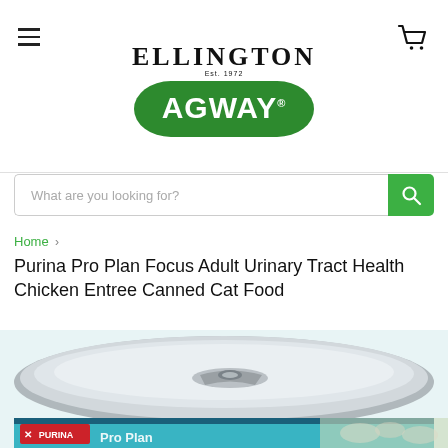[Figure (logo): Ellington Agway logo with green oval badge]
What are you looking for?
Home › Purina Pro Plan Focus Adult Urinary Tract Health Chicken Entree Canned Cat Food
Purina Pro Plan Focus Adult Urinary Tract Health Chicken Entree Canned Cat Food
[Figure (photo): Purina Pro Plan canned cat food tin, teal label, viewed from above showing metallic lid]